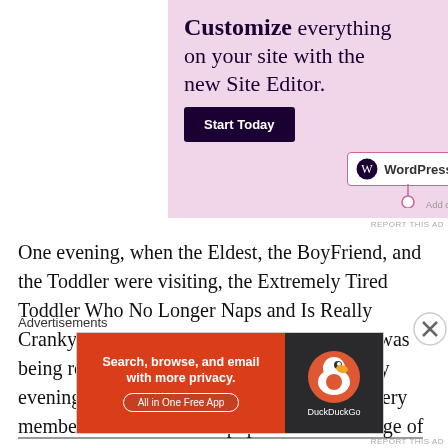[Figure (screenshot): WordPress.com advertisement banner on pink/lavender background. Shows text 'Customize everything on your site with the new Site Editor.' with a 'Start Today' dark button and WordPress.com logo badge.]
REPORT THIS AD
One evening, when the Eldest, the BoyFriend, and the Toddler were visiting, the Extremely Tired Toddler Who No Longer Naps and Is Really Cranky and Obnoxious in the Early Evening was being really cranky and obnoxious in the early evening. It was collectively determined by every member of the household populace over the age of 13 th…
Advertisements
[Figure (screenshot): DuckDuckGo advertisement. Red/orange left panel with text 'Search, browse, and email with more privacy.' and 'All in One Free App' button. Dark right panel with DuckDuckGo duck logo and 'DuckDuckGo' text.]
REPORT THIS AD